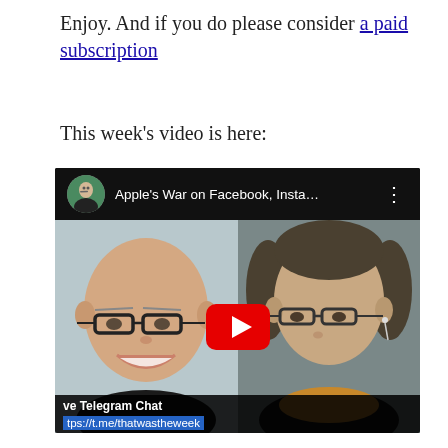Enjoy. And if you do please consider a paid subscription
This week’s video is here:
[Figure (screenshot): YouTube video thumbnail showing two men in a video call. Title bar reads 'Apple's War on Facebook, Insta...' with a YouTube play button in the center. Bottom overlay shows 've Telegram Chat' and 'tps://t.me/thatwastheweek']